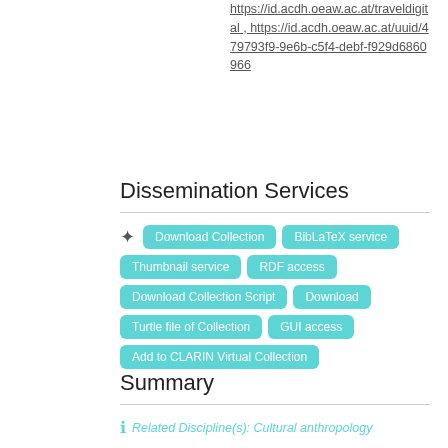https://id.acdh.oeaw.ac.at/traveldigital , https://id.acdh.oeaw.ac.at/uuid/479793f9-9e6b-c5f4-debf-f929d6860966
Dissemination Services
Download Collection
BibLaTeX service
Thumbnail service
RDF access
Download Collection Script
Download
Turtle file of Collection
GUI access
Add to CLARIN Virtual Collection
Summary
Related Discipline(s): Cultural anthropology